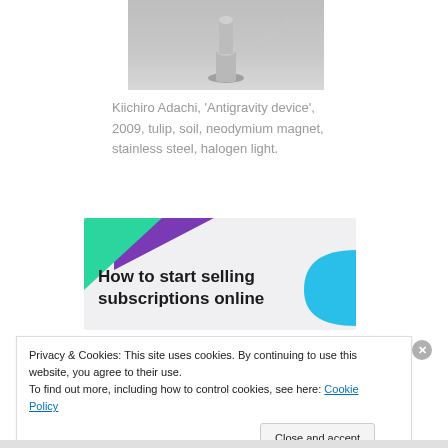[Figure (photo): Close-up photo of a metallic stainless steel bolt or mounting device on a light background, partially cropped at top.]
Kiichiro Adachi, 'Antigravity device', 2009, tulip, soil, neodymium magnet, stainless steel, halogen light.
[Figure (infographic): Advertisement banner with geometric colored shapes (green triangle, purple triangle, blue arc) on light grey background. Text reads: 'How to start selling subscriptions online']
Privacy & Cookies: This site uses cookies. By continuing to use this website, you agree to their use.
To find out more, including how to control cookies, see here: Cookie Policy
Close and accept